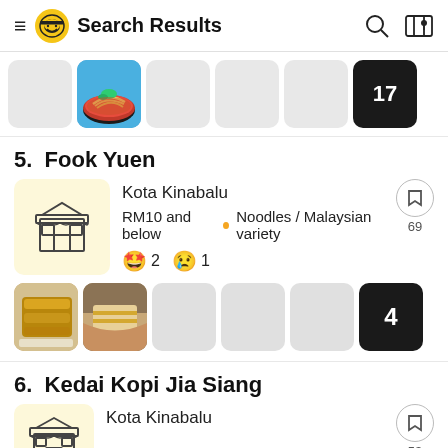Search Results
[Figure (screenshot): Horizontal strip of 6 food photo thumbnails, second one shows a noodle dish, last one is dark with number 17]
5.  Fook Yuen
[Figure (illustration): Yellow store/shop icon logo for Fook Yuen restaurant]
Kota Kinabalu
RM10 and below • Noodles / Malaysian variety
😋 2 😢 1
[Figure (screenshot): Horizontal strip of 6 food photo thumbnails for Fook Yuen, first two show fried food items, last one is dark with number 4]
6.  Kedai Kopi Jia Siang
Kota Kinabalu
[Figure (illustration): Yellow store/shop icon logo for Kedai Kopi Jia Siang]